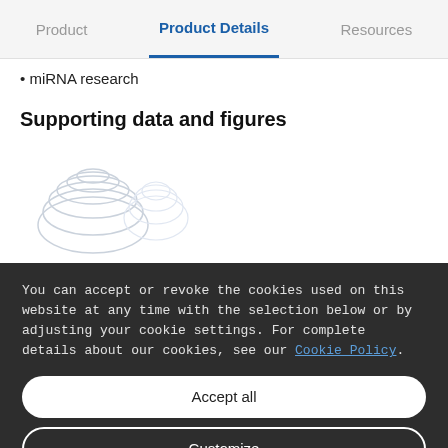Product  |  Product Details  |  Resources
miRNA research
Supporting data and figures
[Figure (illustration): Partial thumbnail sketch image of biological specimen or molecular structure, partially visible]
You can accept or revoke the cookies used on this website at any time with the selection below or by adjusting your cookie settings. For complete details about our cookies, see our Cookie Policy.
Accept all
Customize
Only necessary